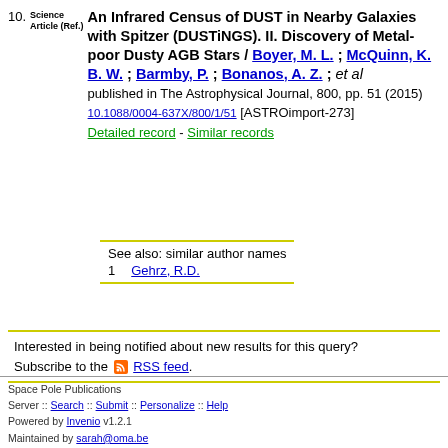10. Science Article (Ref.) An Infrared Census of DUST in Nearby Galaxies with Spitzer (DUSTiNGS). II. Discovery of Metal-poor Dusty AGB Stars / Boyer, M. L. ; McQuinn, K. B. W. ; Barmby, P. ; Bonanos, A. Z. ; et al published in The Astrophysical Journal, 800, pp. 51 (2015) 10.1088/0004-637X/800/1/51 [ASTROimport-273] Detailed record - Similar records
See also: similar author names
1    Gehrz, R.D.
Interested in being notified about new results for this query? Subscribe to the RSS feed.
Space Pole Publications
Server :: Search :: Submit :: Personalize :: Help
Powered by Invenio v1.2.1
Maintained by sarah@oma.be